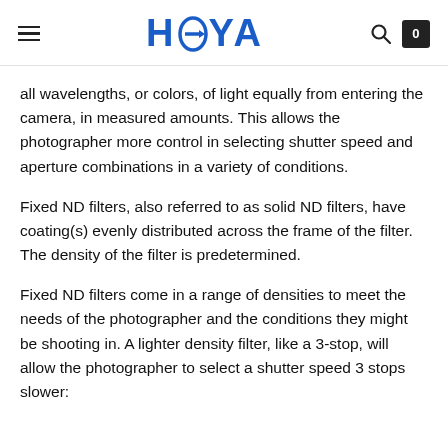HOYA
all wavelengths, or colors, of light equally from entering the camera, in measured amounts. This allows the photographer more control in selecting shutter speed and aperture combinations in a variety of conditions.
Fixed ND filters, also referred to as solid ND filters, have coating(s) evenly distributed across the frame of the filter. The density of the filter is predetermined.
Fixed ND filters come in a range of densities to meet the needs of the photographer and the conditions they might be shooting in. A lighter density filter, like a 3-stop, will allow the photographer to select a shutter speed 3 stops slower: